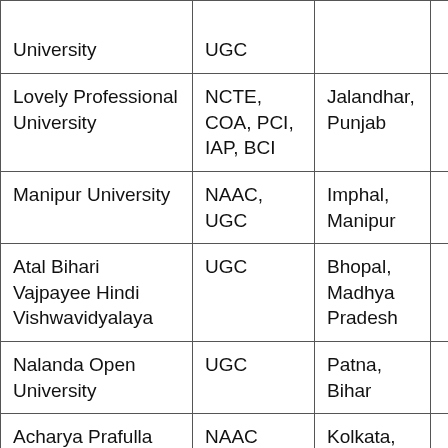| Institution | Accreditation | Location |  |
| --- | --- | --- | --- |
| University | UGC |  |  |
| Lovely Professional University | NCTE, COA, PCI, IAP, BCI | Jalandhar, Punjab |  |
| Manipur University | NAAC, UGC | Imphal, Manipur |  |
| Atal Bihari Vajpayee Hindi Vishwavidyalaya | UGC | Bhopal, Madhya Pradesh |  |
| Nalanda Open University | UGC | Patna, Bihar |  |
| Acharya Prafulla Chandra College | NAAC | Kolkata, West Bengal |  |
| West Bengal |  | Barasat, West |  |